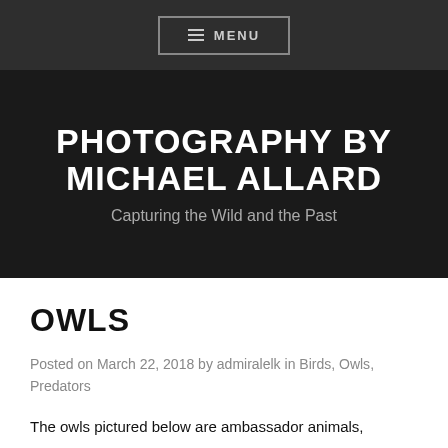MENU
PHOTOGRAPHY BY MICHAEL ALLARD
Capturing the Wild and the Past
OWLS
Posted on March 22, 2018 by admiralelk in Birds, Owls, Predators
The owls pictured below are ambassador animals,